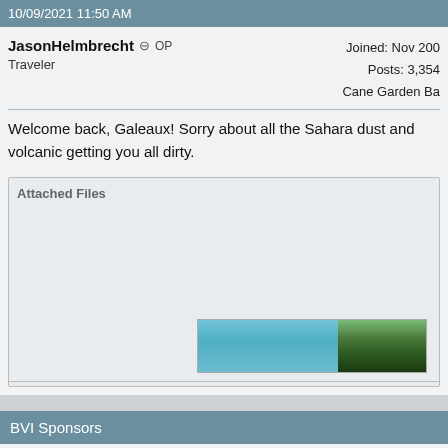10/09/2021 11:50 AM
JasonHelmbrecht ⊖ OP
Traveler
Joined: Nov 200...
Posts: 3,354
Cane Garden Ba...
Welcome back, Galeaux! Sorry about all the Sahara dust and volcanic getting you all dirty.
[Figure (photo): Attached image showing a tropical scene with blue sky and palm trees]
BVI Sponsors